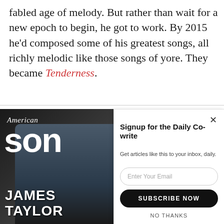fabled age of melody. But rather than wait for a new epoch to begin, he got to work. By 2015 he'd composed some of his greatest songs, all richly melodic like those songs of yore. They became Tenderness.
[Figure (photo): American Songwriter magazine cover featuring James Taylor, a man in a cap and suit seated, with partial text including names like Rufus Wainwright, Justin Tranter, Nathan Rateliff]
[Figure (screenshot): Modal popup: Signup for the Daily Co-write. Get articles like this to your inbox, daily. Email input field, Subscribe Now button, No Thanks link. Close X button.]